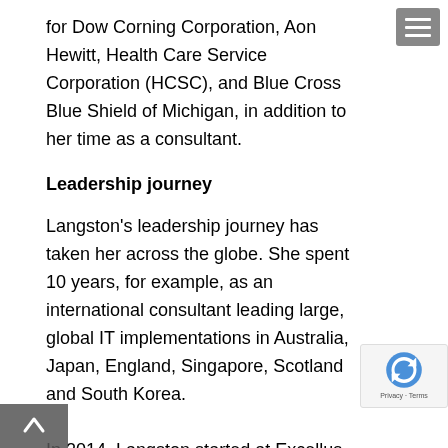for Dow Corning Corporation, Aon Hewitt, Health Care Service Corporation (HCSC), and Blue Cross Blue Shield of Michigan, in addition to her time as a consultant.
Leadership journey
Langston's leadership journey has taken her across the globe. She spent 10 years, for example, as an international consultant leading large, global IT implementations in Australia, Japan, England, Singapore, Scotland and South Korea.
In 2014, Langston started at Excellus BCBS as a vice president in information technology. Three years later, she was promoted to lead the Analytics & Data division as analytics data officer.